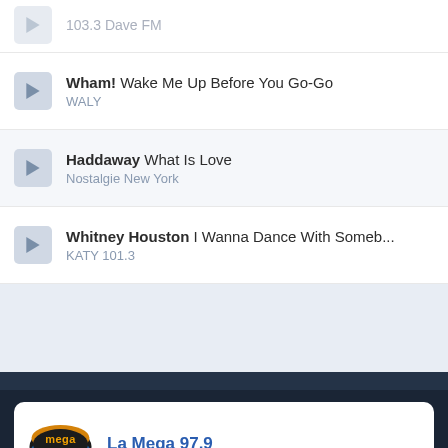Wham! Wake Me Up Before You Go-Go — WALY
Haddaway What Is Love — Nostalgie New York
Whitney Houston I Wanna Dance With Someb... — KATY 101.3
[Figure (screenshot): La Mega 97.9 radio station player card with logo]
La Mega 97.9